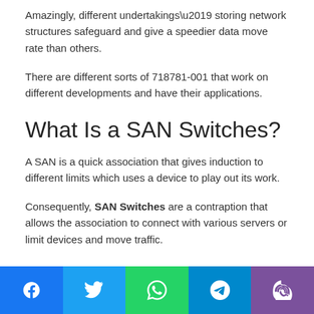Amazingly, different undertakings’ storing network structures safeguard and give a speedier data move rate than others.
There are different sorts of 718781-001 that work on different developments and have their applications.
What Is a SAN Switches?
A SAN is a quick association that gives induction to different limits which uses a device to play out its work.
Consequently, SAN Switches are a contraption that allows the association to connect with various servers or limit devices and move traffic.
[Figure (infographic): Social sharing bar with Facebook, Twitter, WhatsApp, Telegram, and Viber icons]